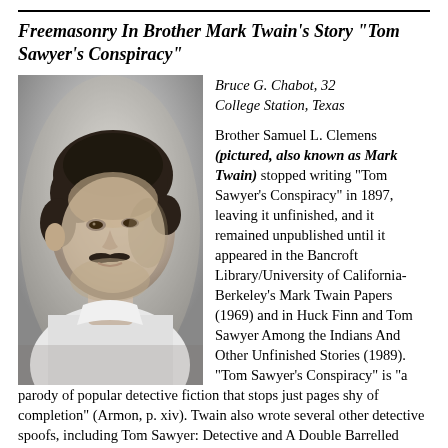Freemasonry In Brother Mark Twain's Story "Tom Sawyer's Conspiracy"
[Figure (photo): Black and white portrait photograph of Mark Twain (Samuel L. Clemens), facing slightly left, with curly hair and a mustache, wearing a white shirt.]
Bruce G. Chabot, 32
College Station, Texas
Brother Samuel L. Clemens (pictured, also known as Mark Twain) stopped writing "Tom Sawyer's Conspiracy" in 1897, leaving it unfinished, and it remained unpublished until it appeared in the Bancroft Library/University of California-Berkeley's Mark Twain Papers (1969) and in Huck Finn and Tom Sawyer Among the Indians And Other Unfinished Stories (1989). "Tom Sawyer's Conspiracy" is "a parody of popular detective fiction that stops just pages shy of completion" (Armon, p. xiv). Twain also wrote several other detective spoofs, including Tom Sawyer: Detective and A Double Barrelled Detective Story. The detective stories Twain are